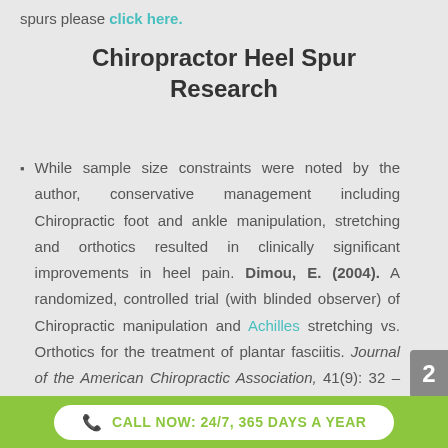spurs please click here.
Chiropractor Heel Spur Research
While sample size constraints were noted by the author, conservative management including Chiropractic foot and ankle manipulation, stretching and orthotics resulted in clinically significant improvements in heel pain. Dimou, E. (2004). A randomized, controlled trial (with blinded observer) of Chiropractic manipulation and Achilles stretching vs. Orthotics for the treatment of plantar fasciitis. Journal of the American Chiropractic Association, 41(9): 32–42.
CALL NOW: 24/7, 365 DAYS A YEAR